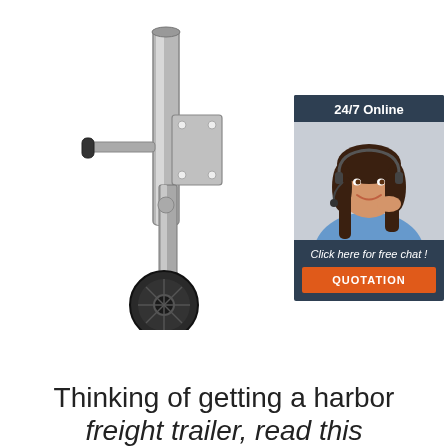[Figure (photo): A silver trailer tongue jack with a black rubber wheel at the bottom and a crank handle on the side, shown against a white background.]
[Figure (infographic): A 24/7 online chat widget showing a smiling woman with a headset, dark background header reading '24/7 Online', italic text 'Click here for free chat !', and an orange button labeled 'QUOTATION'.]
Thinking of getting a harbor freight trailer, read this